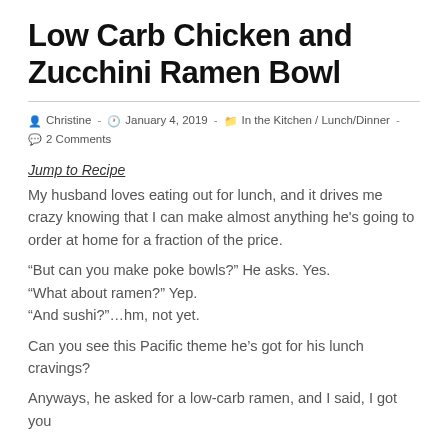Low Carb Chicken and Zucchini Ramen Bowl
Christine  -  January 4, 2019  -  In the Kitchen / Lunch/Dinner  -  2 Comments
Jump to Recipe
My husband loves eating out for lunch, and it drives me crazy knowing that I can make almost anything he's going to order at home for a fraction of the price.
“But can you make poke bowls?” He asks. Yes.
“What about ramen?” Yep.
“And sushi?”…hm, not yet.
Can you see this Pacific theme he’s got for his lunch cravings?
Anyways, he asked for a low-carb ramen, and I said, I got you